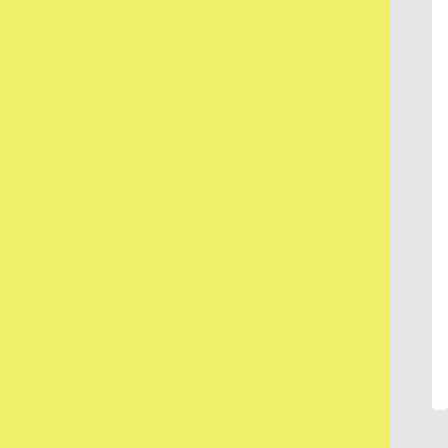[Figure (other): Yellow textured paper panel on the left side of the page, approximately 87% of the page width]
[Figure (other): Gray panel on the right side with a white vertical tab/marker at the top right corner]
I thought he was gonna be Niles Cald